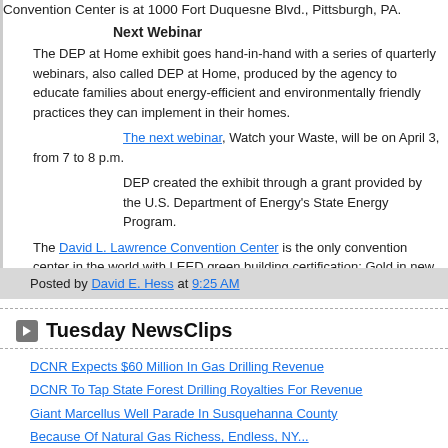Convention Center is at 1000 Fort Duquesne Blvd., Pittsburgh, PA.
Next Webinar
The DEP at Home exhibit goes hand-in-hand with a series of quarterly webinars, also called DEP at Home, produced by the agency to educate families about energy-efficient and environmentally friendly practices they can implement in their homes.
The next webinar, Watch your Waste, will be on April 3, from 7 to 8 p.m.
DEP created the exhibit through a grant provided by the U.S. Department of Energy's State Energy Program.
The David L. Lawrence Convention Center is the only convention center in the world with LEED green building certification: Gold in new construction and Platinum in existing building.
For more information and tickets, visit the Pittsburgh Home and Garden Show website.
Posted by David E. Hess at 9:25 AM
Tuesday NewsClips
DCNR Expects $60 Million In Gas Drilling Revenue
DCNR To Tap State Forest Drilling Royalties For Revenue
Giant Marcellus Well Parade In Susquehanna County
Because Of Natural Gas Richess, Endless, NY...